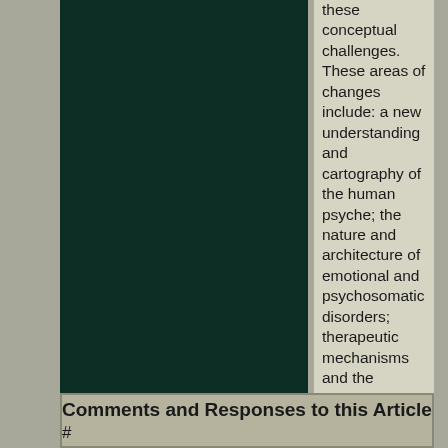[Figure (photo): Dark green rectangular panel, likely a book cover or image placeholder]
these conceptual challenges. These areas of changes include: a new understanding and cartography of the human psyche; the nature and architecture of emotional and psychosomatic disorders; therapeutic mechanisms and the process of healing; the strategy of psychotherapy and self-exploration; the role of spirituality in human life; and the nature of reality.
Comments and Responses to this Article #